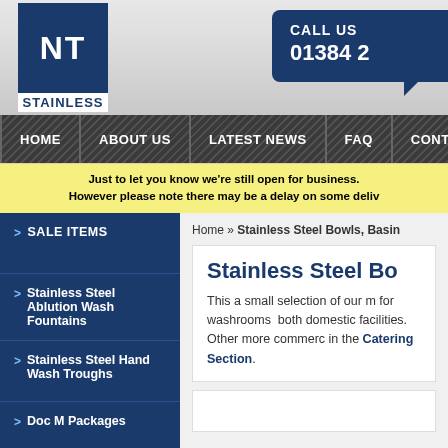[Figure (logo): NT Stainless logo - blue square with white NT text and STAINLESS below]
CALL US
01384 2
HOME | ABOUT US | LATEST NEWS | FAQ | CONT
Just to let you know we're still open for business. However please note there may be a delay on some deliv
> SALE ITEMS
> Stainless Steel Ablution Wash Fountains
> Stainless Steel Hand Wash Troughs
> Doc M Packages
> Stainless Steel Urinals /
Home » Stainless Steel Bowls, Basin
Stainless Steel Bo
This a small selection of our m for washrooms both domestic facilities. Other more commerc in the Catering Section.